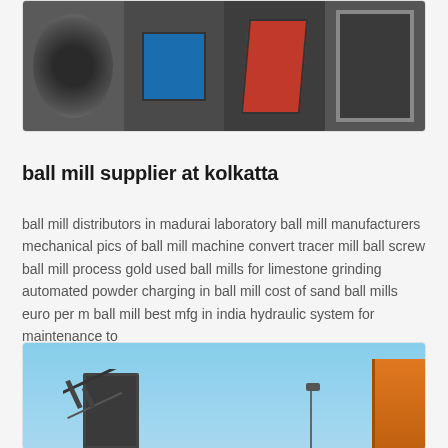[Figure (photo): Industrial machinery photos strip showing four panels: motor/wheel, blue electrical box, red machinery, metal framework/structure]
ball mill supplier at kolkatta
ball mill distributors in madurai laboratory ball mill manufacturers mechanical pics of ball mill machine convert tracer mill ball screw ball mill process gold used ball mills for limestone grinding automated powder charging in ball mill cost of sand ball mills euro per m ball mill best mfg in india hydraulic system for maintenance to
[Figure (photo): Outdoor photo showing industrial equipment against blue sky: conveyor/truss structure on left, light pole in center, orange excavator arm on right]